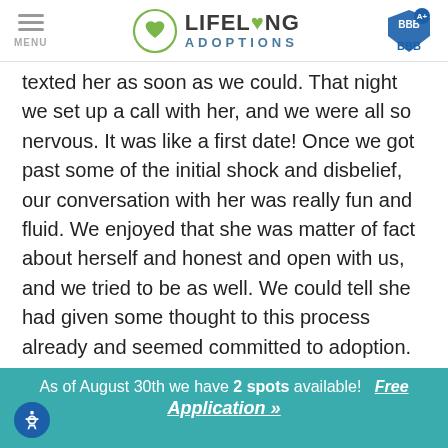MENU | LIFELONG ADOPTIONS | BBB A+
texted her as soon as we could. That night we set up a call with her, and we were all so nervous. It was like a first date! Once we got past some of the initial shock and disbelief, our conversation with her was really fun and fluid. We enjoyed that she was matter of fact about herself and honest and open with us, and we tried to be as well. We could tell she had given some thought to this process already and seemed committed to adoption.
We had planned a visit with her while driving through her state and could not wait to meet in person. Once we
As of August 30th we have 2 spots available! Free Application »